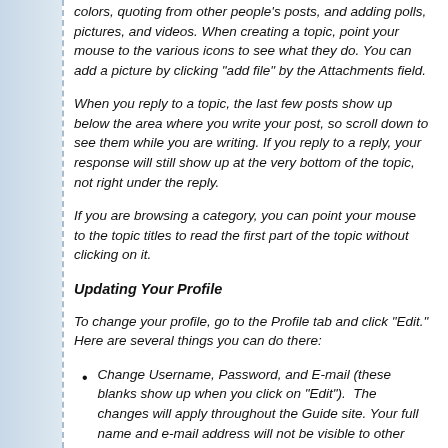colors, quoting from other people's posts, and adding polls, pictures, and videos. When creating a topic, point your mouse to the various icons to see what they do. You can add a picture by clicking "add file" by the Attachments field.
When you reply to a topic, the last few posts show up below the area where you write your post, so scroll down to see them while you are writing. If you reply to a reply, your response will still show up at the very bottom of the topic, not right under the reply.
If you are browsing a category, you can point your mouse to the topic titles to read the first part of the topic without clicking on it.
Updating Your Profile
To change your profile, go to the Profile tab and click "Edit." Here are several things you can do there:
Change Username, Password, and E-mail (these blanks show up when you click on "Edit").  The changes will apply throughout the Guide site. Your full name and e-mail address will not be visible to other users.